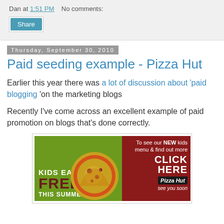Dan at 1:51 PM   No comments:
Share
Thursday, September 30, 2010
Paid seeding example - Pizza Hut
Earlier this year there was a lot of discussion about 'paid blogging 'on the marketing blogs
Recently I've come across an excellent example of paid promotion on blogs that's done correctly.
[Figure (illustration): Pizza Hut advertisement: Kids Eat Free This Summer banner with pizza image and click here call to action on dark red background]